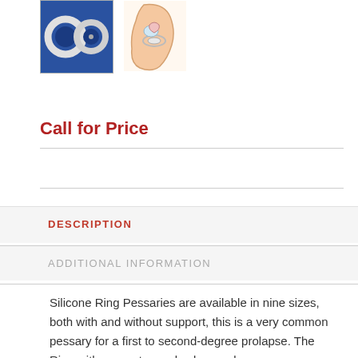[Figure (photo): Photo of two silicone ring pessaries on a blue background]
[Figure (illustration): Medical anatomical illustration showing sagittal cross-section with ring pessary placement]
Call for Price
DESCRIPTION
ADDITIONAL INFORMATION
Silicone Ring Pessaries are available in nine sizes, both with and without support, this is a very common pessary for a first to second-degree prolapse.  The Ring with support can also be used on an accompanying cystocele